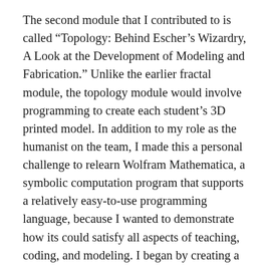The second module that I contributed to is called “Topology: Behind Escher’s Wizardry, A Look at the Development of Modeling and Fabrication.” Unlike the earlier fractal module, the topology module would involve programming to create each student’s 3D printed model. In addition to my role as the humanist on the team, I made this a personal challenge to relearn Wolfram Mathematica, a symbolic computation program that supports a relatively easy-to-use programming language, because I wanted to demonstrate how its could satisfy all aspects of teaching, coding, and modeling. I began by creating a Mathematica workbook that demonstrated topology concepts, such as points, lines, polygons, and dimensionality, and easy-to-follow programming tutorials of topological surfaces. Additionally, I showed how